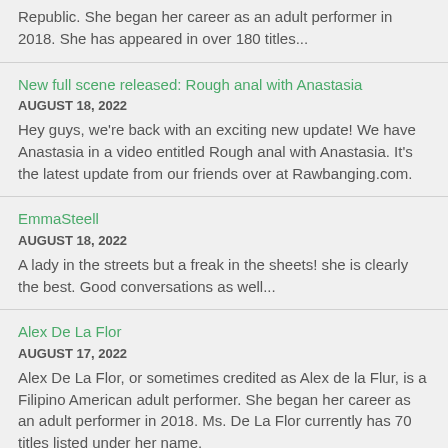Republic. She began her career as an adult performer in 2018. She has appeared in over 180 titles...
New full scene released: Rough anal with Anastasia
AUGUST 18, 2022
Hey guys, we're back with an exciting new update! We have Anastasia in a video entitled Rough anal with Anastasia. It's the latest update from our friends over at Rawbanging.com.
EmmaSteell
AUGUST 18, 2022
A lady in the streets but a freak in the sheets! she is clearly the best. Good conversations as well...
Alex De La Flor
AUGUST 17, 2022
Alex De La Flor, or sometimes credited as Alex de la Flur, is a Filipino American adult performer. She began her career as an adult performer in 2018. Ms. De La Flor currently has 70 titles listed under her name.